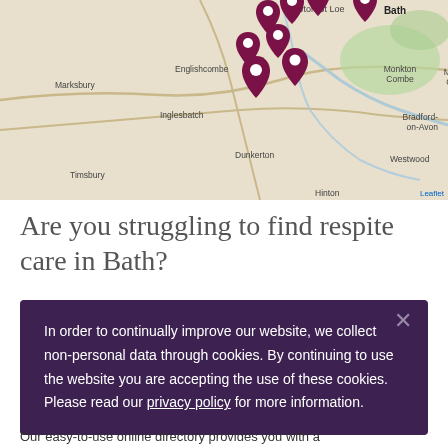[Figure (map): Interactive map showing Bath and surrounding areas including Newton St Loe, Englishcombe, Marksbury, Inglesbatch, Dunkerton, Timsbury, Monkton Combe, Hinton, Bradford-on-Avon, Westwood. Multiple dark red location pin markers are clustered around the Bath area. 'Leaflet' attribution in bottom right corner.]
Are you struggling to find respite care in Bath?
In order to continually improve our website, we collect non-personal data through cookies. By continuing to use the website you are accepting the use of these cookies. Please read our privacy policy for more information.
Our easy-to-use online directory provides you with a